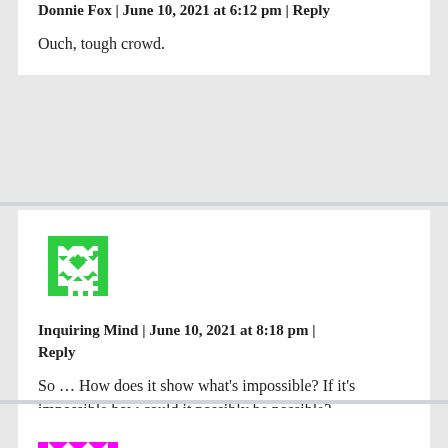Donnie Fox | June 10, 2021 at 6:12 pm | Reply
Ouch, tough crowd.
[Figure (illustration): Green pixelated avatar/identicon]
Inquiring Mind | June 10, 2021 at 8:18 pm | Reply
So … How does it show what's impossible? If it's impossible how could it possibly be possible?
[Figure (illustration): Pink/magenta pixelated avatar/identicon (partially visible)]